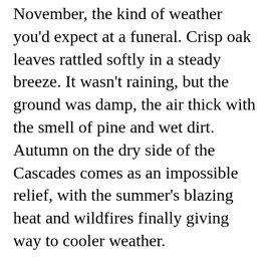November, the kind of weather you'd expect at a funeral. Crisp oak leaves rattled softly in a steady breeze. It wasn't raining, but the ground was damp, the air thick with the smell of pine and wet dirt. Autumn on the dry side of the Cascades comes as an impossible relief, with the summer's blazing heat and wildfires finally giving way to cooler weather.
That year, I was working as a garden manager for Ekone Ranch, a nonprofit land trust in rural